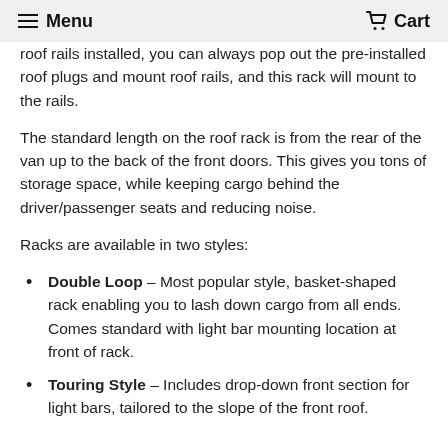Menu  Cart
roof rails installed, you can always pop out the pre-installed roof plugs and mount roof rails, and this rack will mount to the rails.
The standard length on the roof rack is from the rear of the van up to the back of the front doors. This gives you tons of storage space, while keeping cargo behind the driver/passenger seats and reducing noise.
Racks are available in two styles:
Double Loop – Most popular style, basket-shaped rack enabling you to lash down cargo from all ends. Comes standard with light bar mounting location at front of rack.
Touring Style – Includes drop-down front section for light bars, tailored to the slope of the front roof.